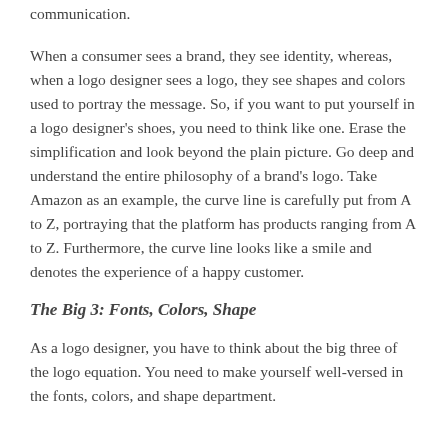communication.
When a consumer sees a brand, they see identity, whereas, when a logo designer sees a logo, they see shapes and colors used to portray the message. So, if you want to put yourself in a logo designer's shoes, you need to think like one. Erase the simplification and look beyond the plain picture. Go deep and understand the entire philosophy of a brand's logo. Take Amazon as an example, the curve line is carefully put from A to Z, portraying that the platform has products ranging from A to Z. Furthermore, the curve line looks like a smile and denotes the experience of a happy customer.
The Big 3: Fonts, Colors, Shape
As a logo designer, you have to think about the big three of the logo equation. You need to make yourself well-versed in the fonts, colors, and shape department.